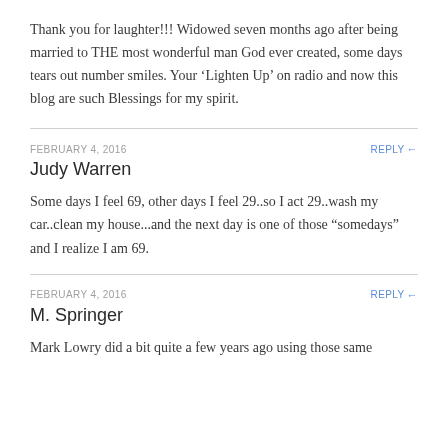Thank you for laughter!!! Widowed seven months ago after being married to THE most wonderful man God ever created, some days tears out number smiles. Your ‘Lighten Up’ on radio and now this blog are such Blessings for my spirit.
FEBRUARY 4, 2016
REPLY
Judy Warren
Some days I feel 69, other days I feel 29..so I act 29..wash my car..clean my house...and the next day is one of those “somedays” and I realize I am 69.
FEBRUARY 4, 2016
REPLY
M. Springer
Mark Lowry did a bit quite a few years ago using those same